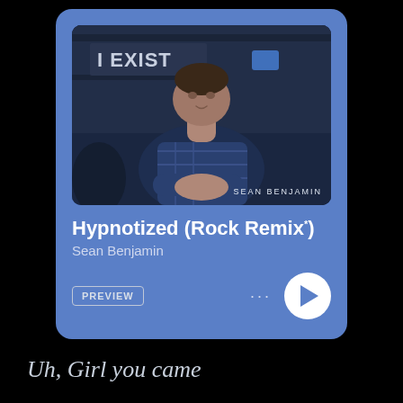[Figure (screenshot): Spotify music player card showing album art for 'Hypnotized (Rock Remix)' by Sean Benjamin. The card has a blue background, shows a photo of a man (Sean Benjamin) with 'I EXIST' text visible in the background of the photo. The card includes a Spotify logo, song title, artist name, a PREVIEW button, a three-dot menu, and a white circular play button.]
Uh, Girl you came